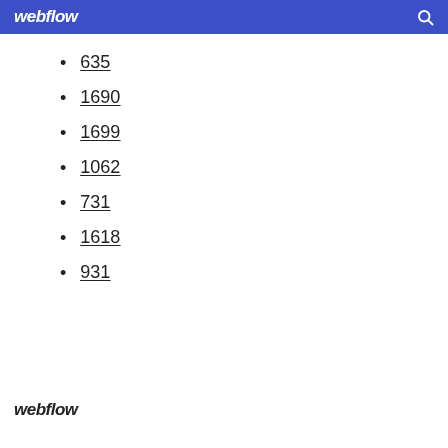webflow
635
1690
1699
1062
731
1618
931
webflow